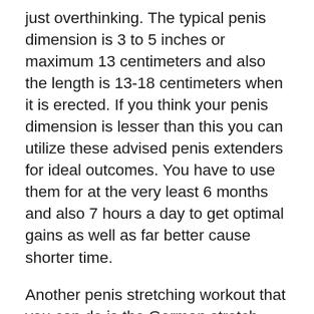just overthinking. The typical penis dimension is 3 to 5 inches or maximum 13 centimeters and also the length is 13-18 centimeters when it is erected. If you think your penis dimension is lesser than this you can utilize these advised penis extenders for ideal outcomes. You have to use them for at the very least 6 months and also 7 hours a day to get optimal gains as well as far better cause shorter time.
Another penis stretching workout that you can do is the German stretch. This is done by stretching your penis direct as well as down making use of only your two index fingers. Ensure that you do this for around 10 seconds and after that repeat for one more ten seconds.